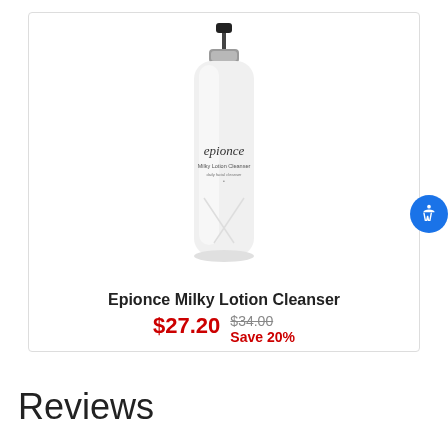[Figure (photo): Epionce Milky Lotion Cleanser pump bottle with silver/black pump top, white bottle with cursive Epionce branding and label text]
Epionce Milky Lotion Cleanser
$27.20  $34.00  Save 20%
Reviews